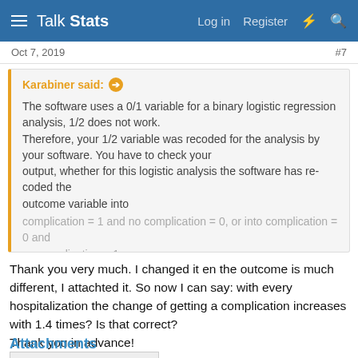Talk Stats — Log in  Register
Oct 7, 2019
#7
Karabiner said: ➔

The software uses a 0/1 variable for a binary logistic regression analysis, 1/2 does not work.
Therefore, your 1/2 variable was recoded for the analysis by your software. You have to check your
output, whether for this logistic analysis the software has re-coded the outcome variable into
complication = 1 and no complication = 0, or into complication = 0 and no complication = 1

Click to expand...
Thank you very much. I changed it en the outcome is much different, I attachted it. So now I can say: with every hospitalization the change of getting a complication increases with 1.4 times? Is that correct?
Thank you in advance!
Attachments
[Figure (screenshot): Thumbnail of an attached document showing tabular data]